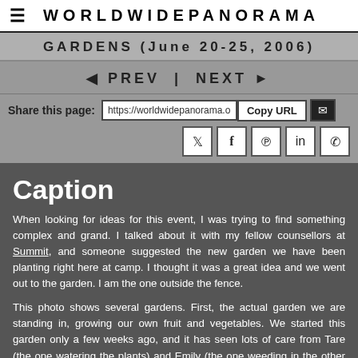WORLDWIDEPANORAMA
GARDENS (June 20-25, 2006)
◄ PREV | NEXT ►
Share this page: https://worldwidepanorama.o  Copy URL  [email] [twitter] [facebook] [pinterest] [linkedin] [whatsapp]
Caption
When looking for ideas for this event, I was trying to find something complex and grand. I talked about it with my fellow counsellors at Summit, and someone suggested the new garden we have been planting right here at camp. I thought it was a great idea and we went out to the garden. I am the one outside the fence.

This photo shows several gardens. First, the actual garden we are standing in, growing our own fruit and vegetables. We started this garden only a few weeks ago, and it has seen lots of care from Tare (the one watering the plants) and Emily (the one weeding in the other corner).

The second garden is camp. We all work at an outdoor adventure camp for kids...